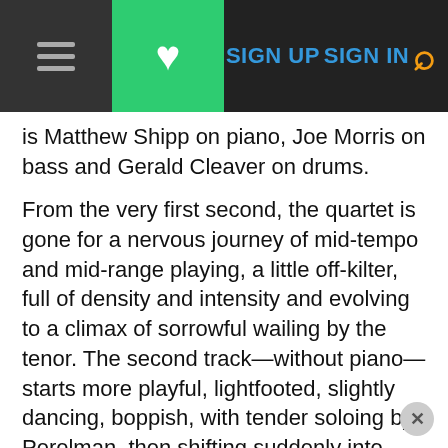SIGN UP   SIGN IN
is Matthew Shipp on piano, Joe Morris on bass and Gerald Cleaver on drums.
From the very first second, the quartet is gone for a nervous journey of mid-tempo and mid-range playing, a little off-kilter, full of density and intensity and evolving to a climax of sorrowful wailing by the tenor. The second track—without piano—starts more playful, lightfooted, slightly dancing, boppish, with tender soloing by Perelman, then shifting suddenly into rock 'n' roll then back to free bop.
Yet the title track starts with a few minor chords on the piano setting the scene for a piece reminiscent of David S. Ware, expansive, expressive, soaring. Even if all four musicians excel, Shipp's magnificent harmonies give the